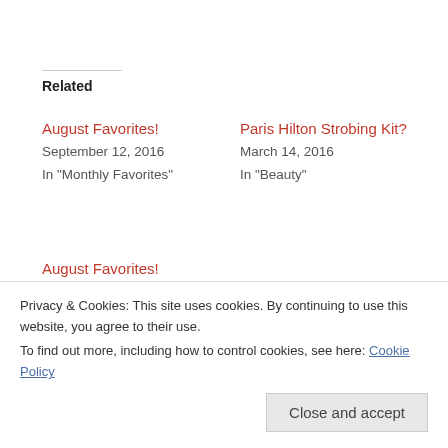Related
August Favorites!
September 12, 2016
In "Monthly Favorites"
Paris Hilton Strobing Kit?
March 14, 2016
In "Beauty"
August Favorites!
September 13, 2015
In "Monthly Favorites"
1000 FOLLOWERS GIVEAWAY
BEAUTY
BH COSMETICS
BLOGGER
CARLI BYBEL EYESHADOW & HIGHLIGHTER PALETTE
Privacy & Cookies: This site uses cookies. By continuing to use this website, you agree to their use.
To find out more, including how to control cookies, see here: Cookie Policy
Close and accept
PREVIOUS